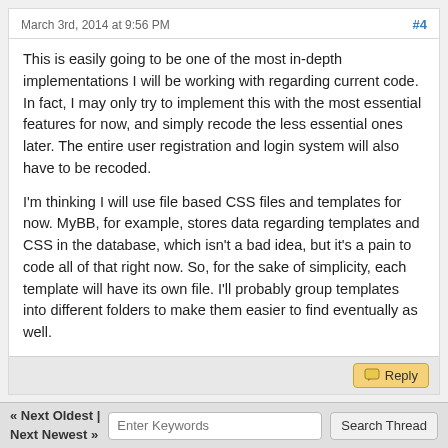March 3rd, 2014 at 9:56 PM   #4
This is easily going to be one of the most in-depth implementations I will be working with regarding current code. In fact, I may only try to implement this with the most essential features for now, and simply recode the less essential ones later. The entire user registration and login system will also have to be recoded.
I'm thinking I will use file based CSS files and templates for now. MyBB, for example, stores data regarding templates and CSS in the database, which isn't a bad idea, but it's a pain to code all of that right now. So, for the sake of simplicity, each template will have its own file. I'll probably group templates into different folders to make them easier to find eventually as well.
« Next Oldest | Next Newest »   Enter Keywords   Search Thread